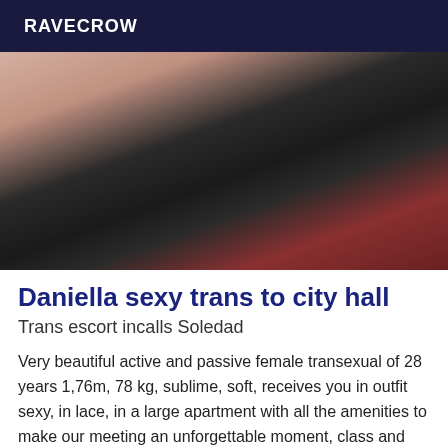RAVECROW
[Figure (photo): Close-up photo of a person wearing a black lace lingerie top, cropped to show chest area. Red fabric visible on right side.]
Daniella sexy trans to city hall
Trans escort incalls Soledad
Very beautiful active and passive female transexual of 28 years 1,76m, 78 kg, sublime, soft, receives you in outfit sexy, in lace, in a large apartment with all the amenities to make our meeting an unforgettable moment, class and very discreet for a good massage. If